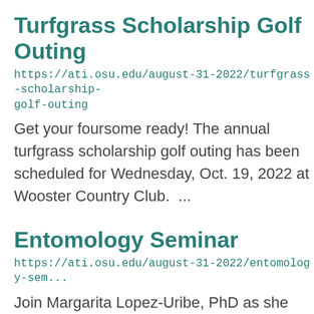Turfgrass Scholarship Golf Outing
https://ati.osu.edu/august-31-2022/turfgrass-scholarship-golf-outing
Get your foursome ready! The annual turfgrass scholarship golf outing has been scheduled for Wednesday, Oct. 19, 2022 at Wooster Country Club. ...
Entomology Seminar
https://ati.osu.edu/august-31-2022/entomology-seminar
Join Margarita Lopez-Uribe, PhD as she presents ecology and evolution of wild bees in agricultural areas: The case study of squash bees'. ...
Porary Food Founds Card Design...